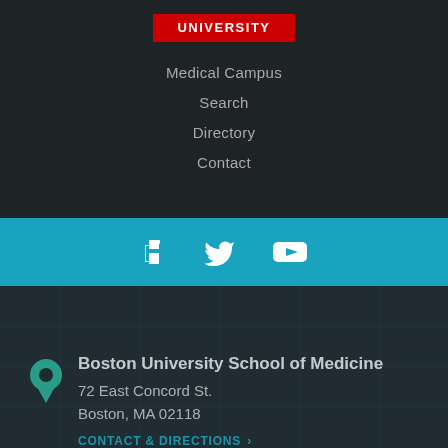[Figure (logo): Boston University logo on red background with text UNIVERSITY]
Medical Campus
Search
Directory
Contact
[Figure (infographic): Social media icons bar: Facebook, Twitter, YouTube on teal/cyan background]
[Figure (photo): Aerial isometric city map background (dark teal)]
Boston University School of Medicine
72 East Concord St.
Boston, MA 02118
CONTACT & DIRECTIONS »